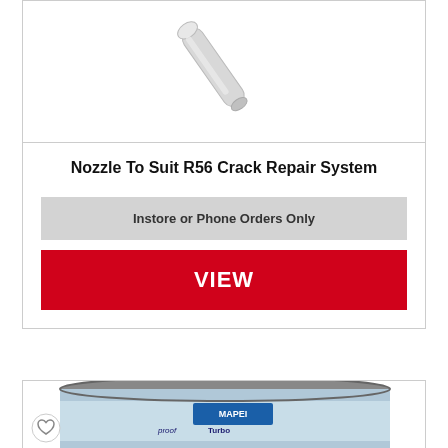[Figure (photo): A white/grey nozzle for the R56 Crack Repair System, shown diagonally against a white background]
Nozzle To Suit R56 Crack Repair System
Instore or Phone Orders Only
VIEW
[Figure (photo): A tin can of Mapei waterproof turbo product with blue and white label, partially visible at bottom of page. A heart/wishlist button is visible in the bottom left corner.]